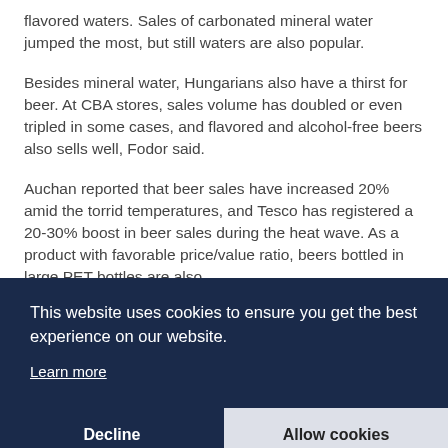flavored waters. Sales of carbonated mineral water jumped the most, but still waters are also popular.
Besides mineral water, Hungarians also have a thirst for beer. At CBA stores, sales volume has doubled or even tripled in some cases, and flavored and alcohol-free beers also sells well, Fodor said.
Auchan reported that beer sales have increased 20% amid the torrid temperatures, and Tesco has registered a 20-30% boost in beer sales during the heat wave. As a product with favorable price/value ratio, beers bottled in large PET bottles are also s... a... fr...
This website uses cookies to ensure you get the best experience on our website.
Learn more
Decline
Allow cookies
Analysis